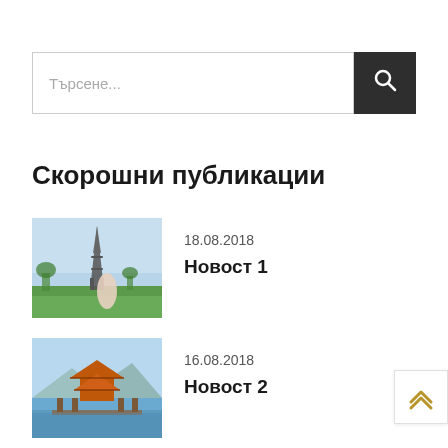Търсене...
Скорошни публикации
[Figure (photo): Couple embracing in front of the Eiffel Tower in Paris]
18.08.2018
Новост 1
[Figure (photo): Traditional Chinese pagoda on a lake with blue sky]
16.08.2018
Новост 2